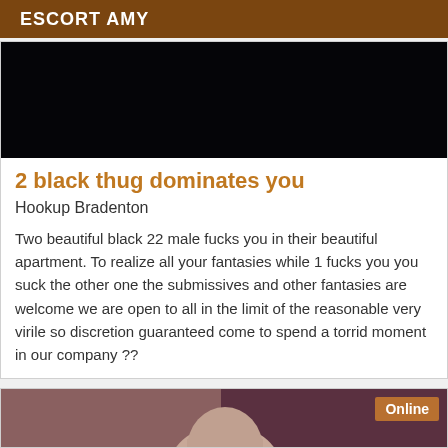ESCORT AMY
[Figure (photo): Dark nearly black image, top portion of a listing card]
2 black thug dominates you
Hookup Bradenton
Two beautiful black 22 male fucks you in their beautiful apartment. To realize all your fantasies while 1 fucks you you suck the other one the submissives and other fantasies are welcome we are open to all in the limit of the reasonable very virile so discretion guaranteed come to spend a torrid moment in our company ??
[Figure (photo): Partial photo of a person with brown hair against a dark reddish-purple curtain background, with an Online badge in the top right corner]